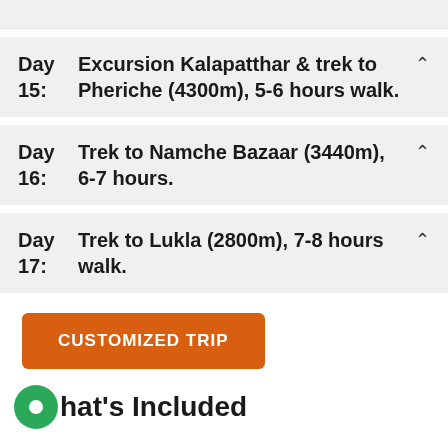Day 15: Excursion Kalapatthar & trek to Pheriche (4300m), 5-6 hours walk.
Day 16: Trek to Namche Bazaar (3440m), 6-7 hours.
Day 17: Trek to Lukla (2800m), 7-8 hours walk.
CUSTOMIZED TRIP
What's Included